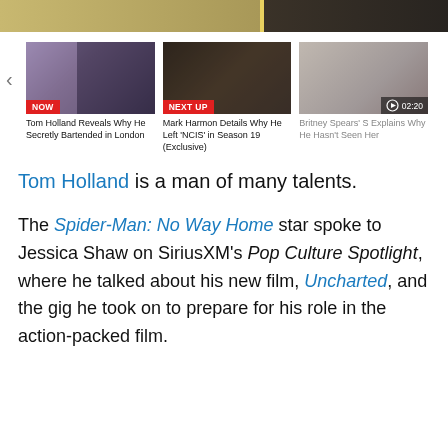[Figure (screenshot): Top partial image strip showing two scenes side by side - left shows a person in yellow against purple background, right shows a darker scene in what appears to be a bar or restaurant]
[Figure (screenshot): Video carousel with three thumbnails: 1) 'NOW' labeled video: Tom Holland Reveals Why He Secretly Bartended in London, 2) 'NEXT UP' labeled video: Mark Harmon Details Why He Left 'NCIS' in Season 19 (Exclusive), 3) Britney Spears' S... Explains Why He Hasn't Seen Her (02:20 duration). Left navigation arrow visible.]
Tom Holland is a man of many talents.
The Spider-Man: No Way Home star spoke to Jessica Shaw on SiriusXM's Pop Culture Spotlight, where he talked about his new film, Uncharted, and the gig he took on to prepare for his role in the action-packed film.